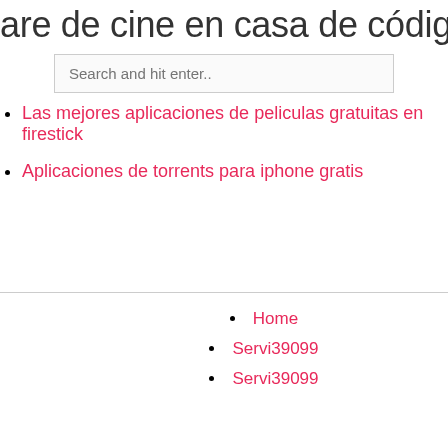are de cine en casa de código abiert
[Figure (screenshot): Search input box with placeholder text 'Search and hit enter..']
Las mejores aplicaciones de peliculas gratuitas en firestick
Aplicaciones de torrents para iphone gratis
Home
Servi39099
Servi39099